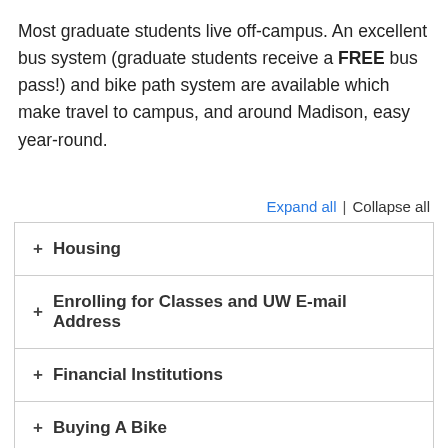Most graduate students live off-campus. An excellent bus system (graduate students receive a FREE bus pass!) and bike path system are available which make travel to campus, and around Madison, easy year-round.
Expand all | Collapse all
+ Housing
+ Enrolling for Classes and UW E-mail Address
+ Financial Institutions
+ Buying A Bike